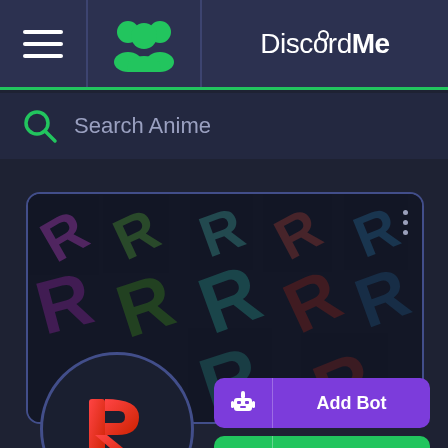DiscordMe
Search Anime
[Figure (screenshot): Discord server banner with repeating colorful R logos on dark background]
[Figure (logo): Server logo: red R icon on dark circle background]
Add Bot
Support Server